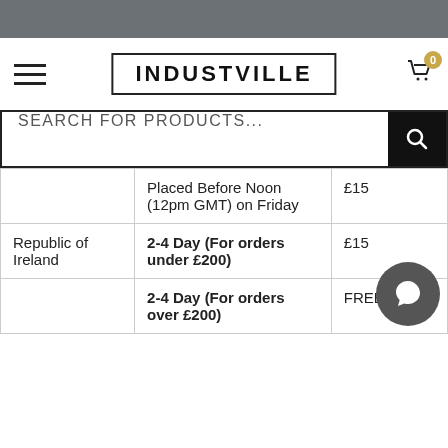INDUSTVILLE
SEARCH FOR PRODUCTS...
|  | Service | Price |
| --- | --- | --- |
|  | Placed Before Noon (12pm GMT) on Friday | £15 |
| Republic of Ireland | 2-4 Day (For orders under £200) | £15 |
|  | 2-4 Day (For orders over £200) | FREE |